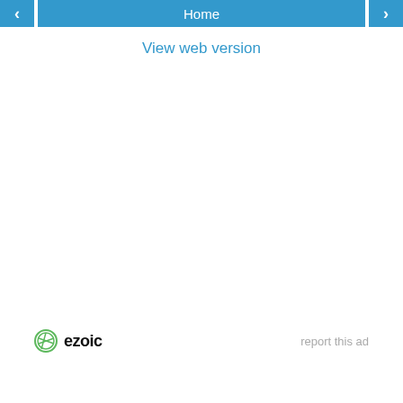‹  Home  ›
View web version
[Figure (logo): Ezoic logo with green circular icon and bold text 'ezoic']
report this ad